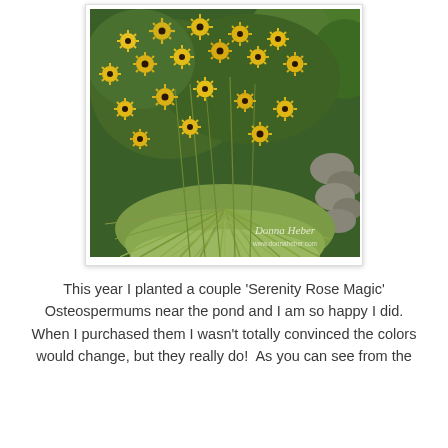[Figure (photo): A garden photograph showing yellow black-eyed Susan flowers (Rudbeckia) blooming in abundance against a green background, with ornamental grass in the foreground and rocks visible on the right side. A watermark reads 'Donna Heber' and 'www.donnaheber.com' in the lower right.]
This year I planted a couple 'Serenity Rose Magic' Osteospermums near the pond and I am so happy I did. When I purchased them I wasn't totally convinced the colors would change, but they really do!  As you can see from the